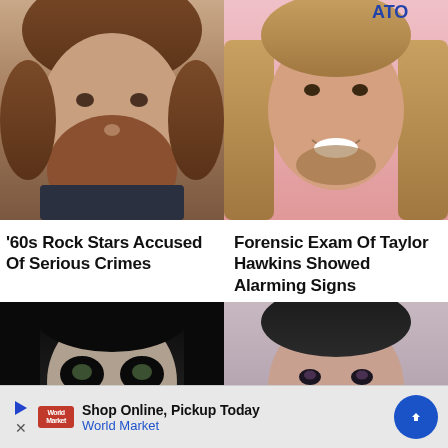[Figure (photo): Close-up photo of a bearded man with reddish-brown hair and beard, wearing a dark shirt]
[Figure (photo): Photo of a smiling man with long blond/brown hair and a short beard, pink background]
'60s Rock Stars Accused Of Serious Crimes
Forensic Exam Of Taylor Hawkins Showed Alarming Signs
[Figure (photo): Close-up of a person with heavy dark eye makeup (Alice Cooper style), dramatic goth look]
[Figure (photo): Close-up of a man with slicked-back dark hair and subtle eye makeup]
Shop Online, Pickup Today World Market